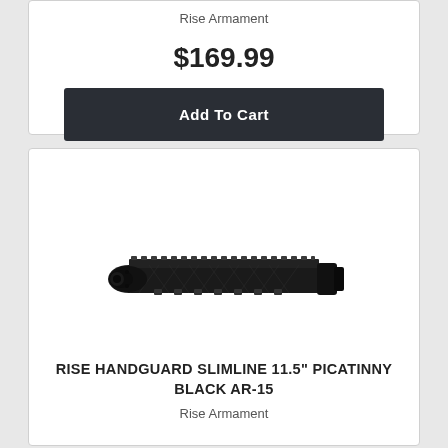Rise Armament
$169.99
Add To Cart
[Figure (photo): RISE Handguard Slimline 11.5" Picatinny Black AR-15 product photo showing a black AR-15 handguard rail]
RISE HANDGUARD SLIMLINE 11.5" PICATINNY BLACK AR-15
Rise Armament